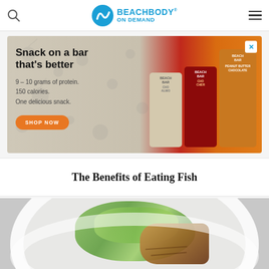[Figure (logo): Beachbody On Demand logo with circular blue icon and brand name]
[Figure (photo): Advertisement for Beachbar: 'Snack on a bar that's better. 9-10 grams of protein. 150 calories. One delicious snack.' with SHOP NOW button and product images]
The Benefits of Eating Fish
[Figure (photo): Photo of grilled fish on a white plate with green salad]